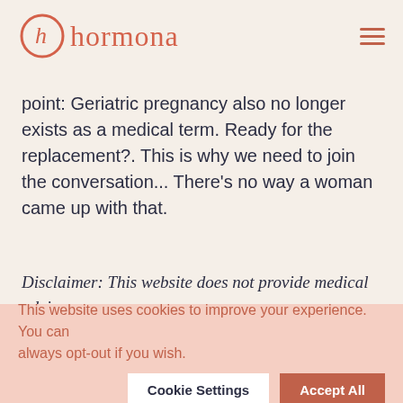hormona
point: Geriatric pregnancy also no longer exists as a medical term. Ready for the replacement?. This is why we need to join the conversation... There’s no way a woman came up with that.
Disclaimer: This website does not provide medical advice
The information, including but not limited to, text,
This website uses cookies to improve your experience. You can always opt-out if you wish.